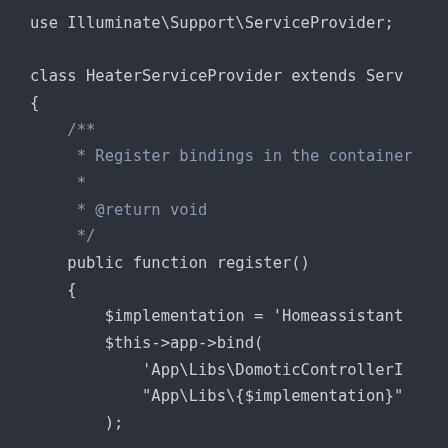[Figure (screenshot): PHP code snippet showing a HeaterServiceProvider class extending ServiceProvider, with a register() method that binds a Homeassistant implementation to App\Libs\DomoticControllerInterface using $this->app->bind().]